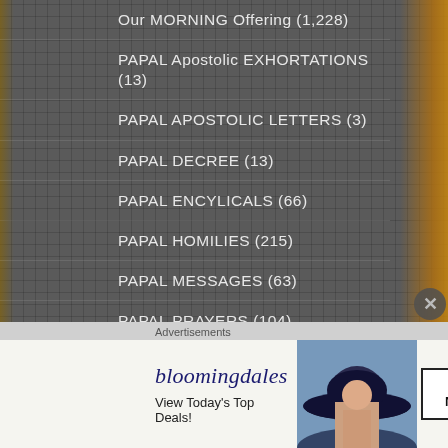Our MORNING Offering (1,228)
PAPAL Apostolic EXHORTATIONS (13)
PAPAL APOSTOLIC LETTERS (3)
PAPAL DECREE (13)
PAPAL ENCYLICALS (66)
PAPAL HOMILIES (215)
PAPAL MESSAGES (63)
PAPAL PRAYERS (104)
PARTIAL Indulgence (38)
PATRONAGE – A HOLY DEATH & AGAINST A SUDDEN DEATH (3)
PATRONAGE – Against DROWNING (2)
Advertisements
[Figure (screenshot): Bloomingdale's advertisement banner: logo text 'bloomingdales', tagline 'View Today's Top Deals!', photo of woman in large brimmed hat, 'SHOP NOW >' button]